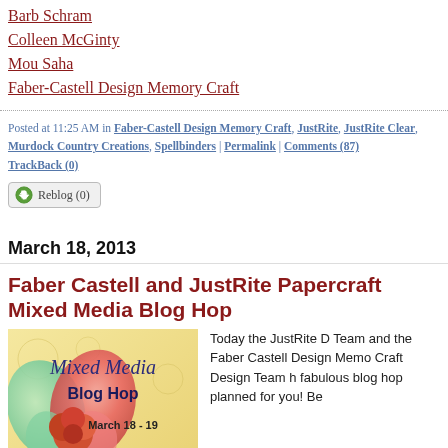Barb Schram
Colleen McGinty
Mou Saha
Faber-Castell Design Memory Craft
Posted at 11:25 AM in Faber-Castell Design Memory Craft, JustRite, JustRite Clear, Murdock Country Creations, Spellbinders | Permalink | Comments (87) | TrackBack (0)
Reblog (0)
March 18, 2013
Faber Castell and JustRite Papercraft Mixed Media Blog Hop
[Figure (photo): Mixed Media Blog Hop banner image with butterfly and rose, March 18-19, JustRite logo]
Today the JustRite D Team and the Faber Castell Design Memo Craft Design Team h fabulous blog hop planned for you!  Be